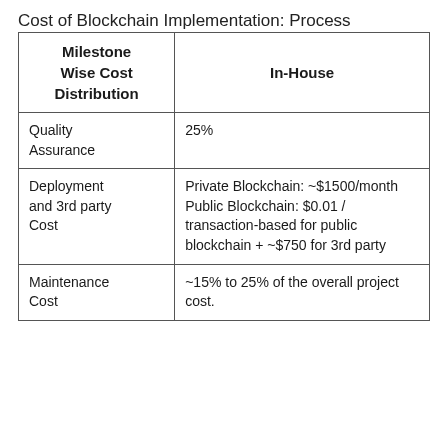Cost of Blockchain Implementation: Process
| Milestone Wise Cost Distribution | In-House |
| --- | --- |
| Quality Assurance | 25% |
| Deployment and 3rd party Cost | Private Blockchain: ~$1500/month Public Blockchain: $0.01 / transaction-based for public blockchain + ~$750 for 3rd party |
| Maintenance Cost | ~15% to 25% of the overall project cost. |